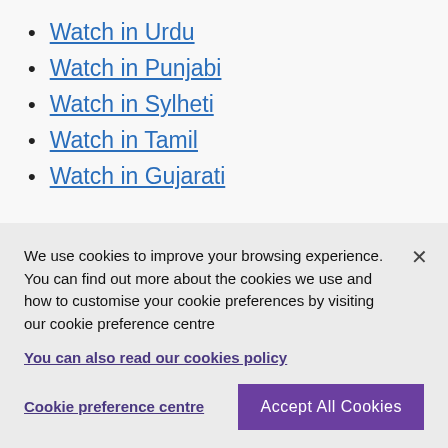Watch in Urdu
Watch in Punjabi
Watch in Sylheti
Watch in Tamil
Watch in Gujarati
Vaccine information and resources
We use cookies to improve your browsing experience. You can find out more about the cookies we use and how to customise your cookie preferences by visiting our cookie preference centre
You can also read our cookies policy
Cookie preference centre
Accept All Cookies